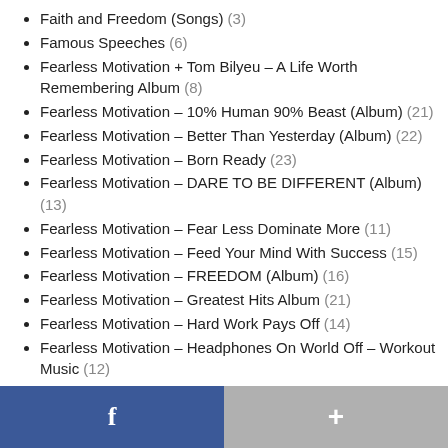Faith and Freedom (Songs) (3)
Famous Speeches (6)
Fearless Motivation + Tom Bilyeu – A Life Worth Remembering Album (8)
Fearless Motivation – 10% Human 90% Beast (Album) (21)
Fearless Motivation – Better Than Yesterday (Album) (22)
Fearless Motivation – Born Ready (23)
Fearless Motivation – DARE TO BE DIFFERENT (Album) (13)
Fearless Motivation – Fear Less Dominate More (11)
Fearless Motivation – Feed Your Mind With Success (15)
Fearless Motivation – FREEDOM (Album) (16)
Fearless Motivation – Greatest Hits Album (21)
Fearless Motivation – Hard Work Pays Off (14)
Fearless Motivation – Headphones On World Off – Workout Music (12)
Fearless Motivation – Hungry For Success (15)
Fearless Motivation – Passion Power Purpose (ALBUM) (14)
Fearless Motivation – REINVENT Yourself (15)
Fearless Motivation – Strong Mind Strong Life (19)
f  +